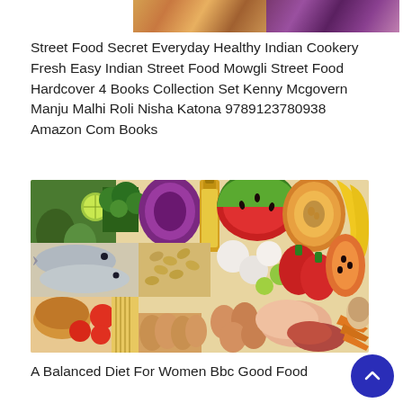[Figure (photo): Top strip showing two food photos — left side with colorful Indian dishes, right side with purple cabbage and vegetables]
Street Food Secret Everyday Healthy Indian Cookery Fresh Easy Indian Street Food Mowgli Street Food Hardcover 4 Books Collection Set Kenny Mcgovern Manju Malhi Roli Nisha Katona 9789123780938 Amazon Com Books
[Figure (photo): Colorful spread of fresh foods including fish, vegetables, fruits, eggs, meat, bread, oil bottle, watermelon, cantaloupe, bananas, peppers, tomatoes, broccoli, avocado, onions, rice, and carrots arranged as a balanced diet display]
A Balanced Diet For Women Bbc Good Food